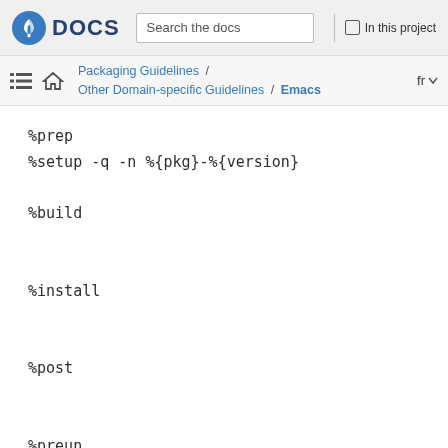Fedora DOCS — Search the docs | In this project
Packaging Guidelines / Other Domain-specific Guidelines / Emacs  fr
%prep
%setup -q -n %{pkg}-%{version}

%build


%install


%post


%preun